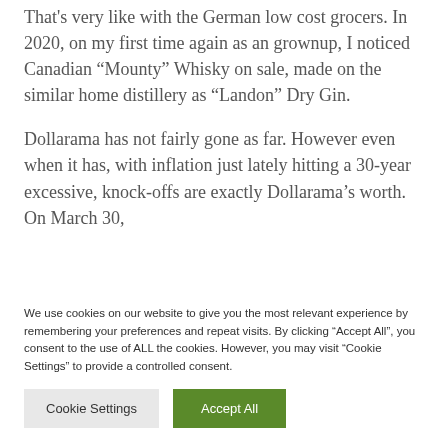That's very like with the German low cost grocers. In 2020, on my first time again as an grownup, I noticed Canadian “Mounty” Whisky on sale, made on the similar home distillery as “Landon” Dry Gin.
Dollarama has not fairly gone as far. However even when it has, with inflation just lately hitting a 30-year excessive, knock-offs are exactly Dollarama’s worth. On March 30,
We use cookies on our website to give you the most relevant experience by remembering your preferences and repeat visits. By clicking “Accept All”, you consent to the use of ALL the cookies. However, you may visit “Cookie Settings” to provide a controlled consent.